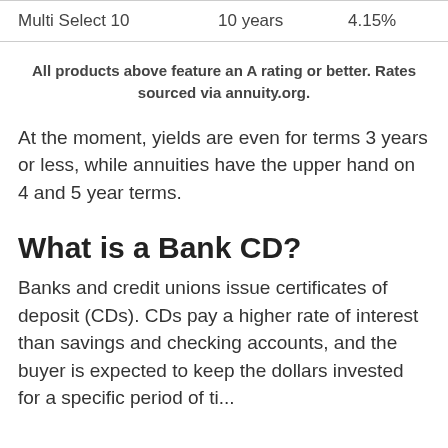| Product | Term | Rate |
| --- | --- | --- |
| Multi Select 10 | 10 years | 4.15% |
All products above feature an A rating or better. Rates sourced via annuity.org.
At the moment, yields are even for terms 3 years or less, while annuities have the upper hand on 4 and 5 year terms.
What is a Bank CD?
Banks and credit unions issue certificates of deposit (CDs). CDs pay a higher rate of interest than savings and checking accounts, and the buyer is expected to keep the dollars invested for a specific period of time...